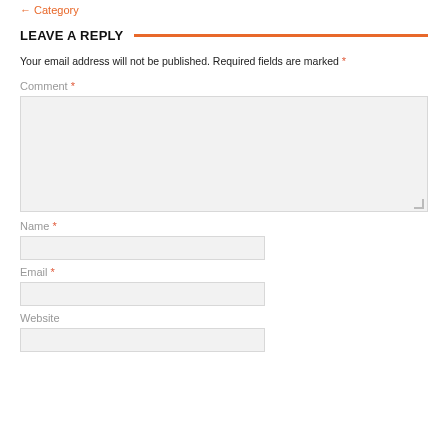← Category
LEAVE A REPLY
Your email address will not be published. Required fields are marked *
Comment *
[Figure (other): Comment text area input box, empty, light gray background]
Name *
[Figure (other): Name text input field, empty, light gray background]
Email *
[Figure (other): Email text input field, empty, light gray background]
Website
[Figure (other): Website text input field, empty, light gray background]